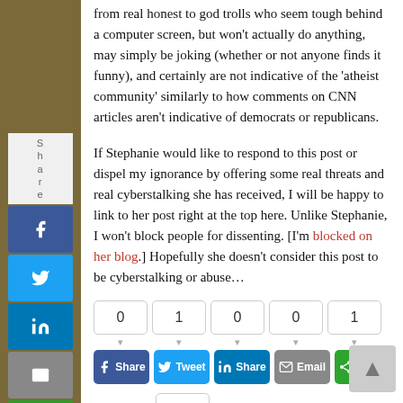from real honest to god trolls who seem tough behind a computer screen, but won't actually do anything, may simply be joking (whether or not anyone finds it funny), and certainly are not indicative of the 'atheist community' similarly to how comments on CNN articles aren't indicative of democrats or republicans.
If Stephanie would like to respond to this post or dispel my ignorance by offering some real threats and real cyberstalking she has received, I will be happy to link to her post right at the top here. Unlike Stephanie, I won't block people for dissenting. [I'm blocked on her blog.] Hopefully she doesn't consider this post to be cyberstalking or abuse…
[Figure (infographic): Social share widget with counts: Facebook 0, Twitter 1, LinkedIn 0, Email 0, Share 1. Buttons: Share, Tweet, Share, Email, Share. Pinterest count 0 and Pin button below.]